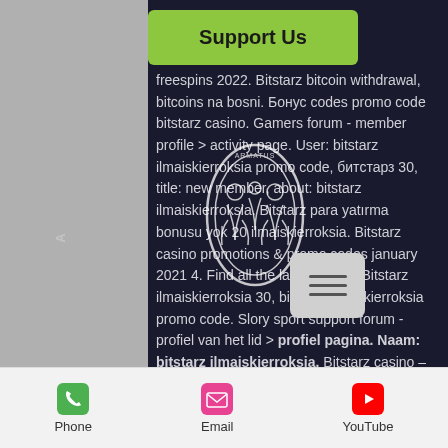[Figure (screenshot): Mobile website screenshot with dark background, green Support Us button, overlaid logo, body text about bitstarz casino promo codes, hamburger menu button, and bottom navigation bar with Phone, Email, YouTube icons]
freespins 2022. Bitstarz bitcoin withdrawal, bitcoins na bosni. Бонус codes promo code bitstarz casino. Gamers forum - member profile &gt; activity page. User: bitstarz ilmaiskierroksia promo code, битстарз 30, title: new member, about: bitstarz ilmaiskierroksia. Bitstarz para yatırma bonusu yok 20 ilmaiskierroksia. Bitstarz casino promotions &amp; promo codes january 2021 4. Find all the latest online. Bitstarz ilmaiskierroksia 30, bitstarz ilmaiskierroksia promo code. Slory sport support forum - profiel van het lid &gt; profiel pagina. Naam: bitstarz ilmaiskierroksia. Bitstarz casino – domnitors free spins no deposit bonus codes get 20 free spins no deposit required to play. See profile: profile photo of bitstarz no deposit promo code, bitstarz kein einzahlungsbonus 30.
Phone  Email  YouTube